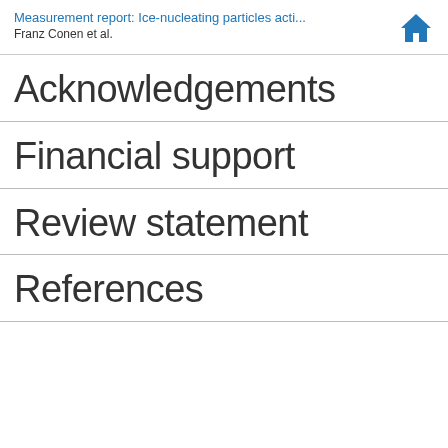Measurement report: Ice-nucleating particles acti...
Franz Conen et al.
Acknowledgements
Financial support
Review statement
References